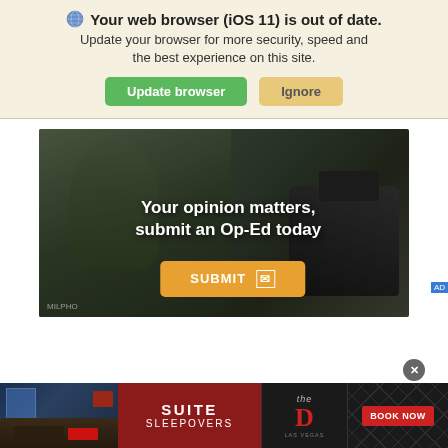Your web browser (iOS 11) is out of date. Update your browser for more security, speed and the best experience on this site.
[Figure (screenshot): Browser update notification banner with globe icon, bold title 'Your web browser (iOS 11) is out of date.', subtitle text, and two buttons: green 'Update browser' and tan 'Ignore']
[Figure (photo): Military Op-Ed advertisement: soldier in camouflage uniform with text 'Your opinion matters, submit an Op-Ed today' and an orange 'SUBMIT' button with envelope icon]
[Figure (infographic): Advertisement banner for 'Suite Sleepovers' at The D Las Vegas casino hotel, showing a hotel suite photo, red background with bold text, The D logo, diamond pattern, and a red 'BOOK NOW' button]